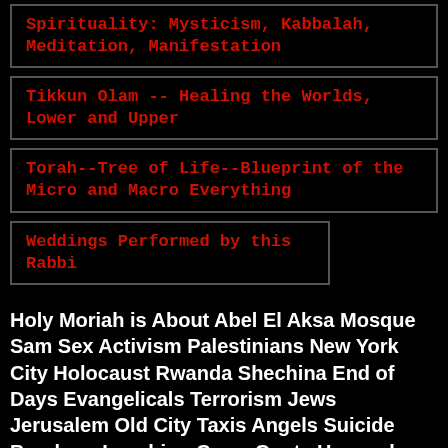Spirituality: Mysticism, Kabbalah, Meditation, Manifestation
Tikkun Olam -- Healing the Worlds, Lower and Upper
Torah--Tree of Life--Blueprint of the Micro and Macro Everything
Weddings Performed by this Rabbi
Holy Moriah is About Abel El Aksa Mosque Sam Sex Activism Palestinians New York City Holocaust Rwanda Shechina End of Days Evangelicals Terrorism Jews Jerusalem Old City Taxis Angels Suicide Bombers Lynching Cows Goats Haganah Israel Hope Coalition Kabalah Prayer God Japanese Americans Adoption Bar Mitzvah Worship Speaking in Tongues Sex Insanity Devotion Motherhood Miracles Flame Jesus Sam Brown Sacramento